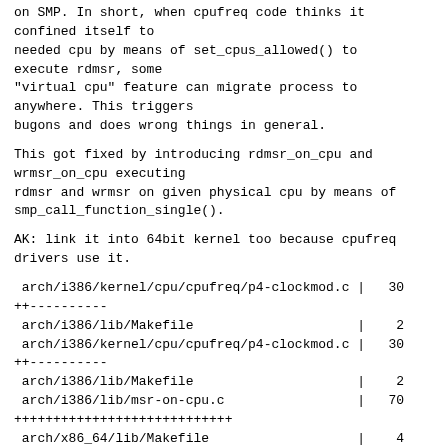on SMP. In short, when cpufreq code thinks it
confined itself to
needed cpu by means of set_cpus_allowed() to
execute rdmsr, some
"virtual cpu" feature can migrate process to
anywhere. This triggers
bugons and does wrong things in general.
This got fixed by introducing rdmsr_on_cpu and
wrmsr_on_cpu executing
rdmsr and wrmsr on given physical cpu by means of
smp_call_function_single().
AK: link it into 64bit kernel too because cpufreq
drivers use it.
arch/i386/kernel/cpu/cpufreq/p4-clockmod.c |   30
++----------
 arch/i386/lib/Makefile                     |    2
 arch/i386/kernel/cpu/cpufreq/p4-clockmod.c |   30
++----------
 arch/i386/lib/Makefile                     |    2
 arch/i386/lib/msr-on-cpu.c                 |   70
++++++++++++++++++++++++++++
 arch/x86_64/lib/Makefile                   |    4
+
 include/asm-i386/msr.h                     |    3
+
 5 files changed, 84 insertions(+), 25
deletions(-)